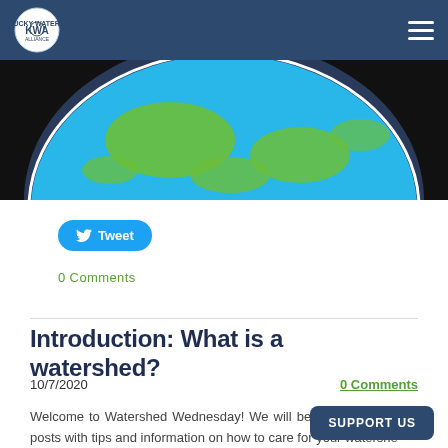Kentucky Waterways Alliance (KWA) navigation bar
[Figure (photo): Globe/earth image showing landmasses in green and blue ocean, partially visible, cropped at top]
Tweet
0 Comments
Introduction: What is a watershed?
10/7/2020
0 Comments
Welcome to Watershed Wednesday! We will be sharing bi-weekly posts with tips and information on how to care for your watershed.
SUPPORT US